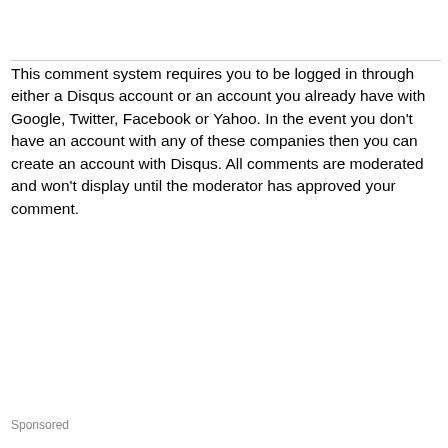This comment system requires you to be logged in through either a Disqus account or an account you already have with Google, Twitter, Facebook or Yahoo. In the event you don't have an account with any of these companies then you can create an account with Disqus. All comments are moderated and won't display until the moderator has approved your comment.
Sponsored